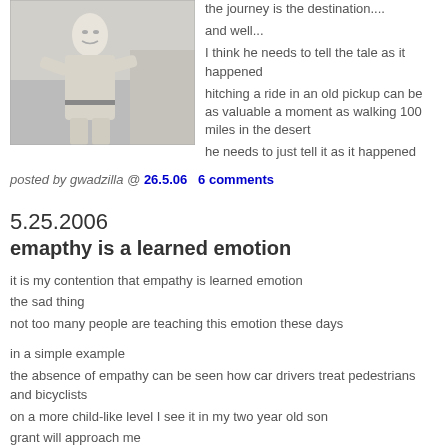[Figure (photo): Black and white photo of a person in light-colored shirt and pants, appears to be outdoors near some structure]
the journey is the destination....
and well...
I think he needs to tell the tale as it happened
hitching a ride in an old pickup can be as valuable a moment as walking 100 miles in the desert
he needs to just tell it as it happened
posted by gwadzilla @ 26.5.06   6 comments
5.25.2006
emapthy is a learned emotion
it is my contention that empathy is learned emotion
the sad thing
not too many people are teaching this emotion these days
in a simple example
the absence of empathy can be seen how car drivers treat pedestrians and bicyclists
on a more child-like level I see it in my two year old son
grant will approach me
daddy I broke your sunglasses
or
daddy I broke your computer
in each case he is correct and cute
the information is there